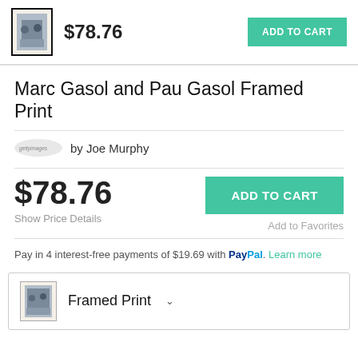[Figure (screenshot): Top bar with framed print thumbnail, price $78.76, and ADD TO CART button]
Marc Gasol and Pau Gasol Framed Print
by Joe Murphy
$78.76
Show Price Details
ADD TO CART
Add to Favorites
Pay in 4 interest-free payments of $19.69 with PayPal. Learn more
Framed Print